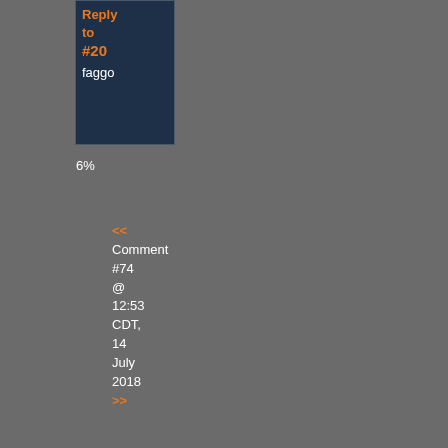[Figure (screenshot): Dark gray webpage screenshot showing comment thread interface with two partially visible comment cards. Top card shows 'Reply to #20' in orange text and 'faggo' in white. Below is '6%' label. Middle section shows navigation '<<' and 'Comment #74 @ 12:53 CDT, 14 July 2018' with '>>' in orange. Bottom card shows partial text 'nk, ply)' then 'By' in orange, a Malaysian flag icon, 'UN - Reply to #27' in orange, followed by white text 'Ga sl are the be' and 'Ju'.]